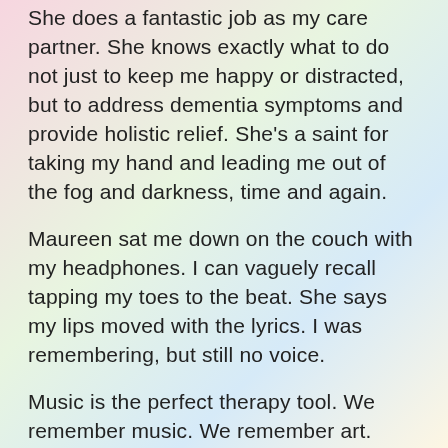She does a fantastic job as my care partner. She knows exactly what to do not just to keep me happy or distracted, but to address dementia symptoms and provide holistic relief. She's a saint for taking my hand and leading me out of the fog and darkness, time and again.
Maureen sat me down on the couch with my headphones. I can vaguely recall tapping my toes to the beat. She says my lips moved with the lyrics. I was remembering, but still no voice.
Music is the perfect therapy tool. We remember music. We remember art. They realign and reset minds with ties to specific emotions and functions. I love all kinds of music, and I have some 4,800